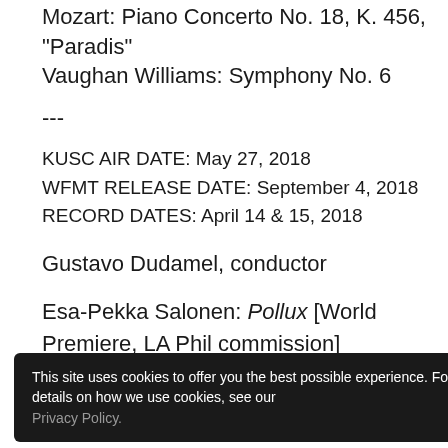Mozart: Piano Concerto No. 18, K. 456, "Paradis"
Vaughan Williams: Symphony No. 6
---
KUSC AIR DATE: May 27, 2018
WFMT RELEASE DATE: September 4, 2018
RECORD DATES: April 14 & 15, 2018
Gustavo Dudamel, conductor
Esa-Pekka Salonen: Pollux [World Premiere, LA Phil commission]
Varèse: Amériques
Shostakovich: Symphony No. 5
This site uses cookies to offer you the best possible experience. For details on how we use cookies, see our Privacy Policy.